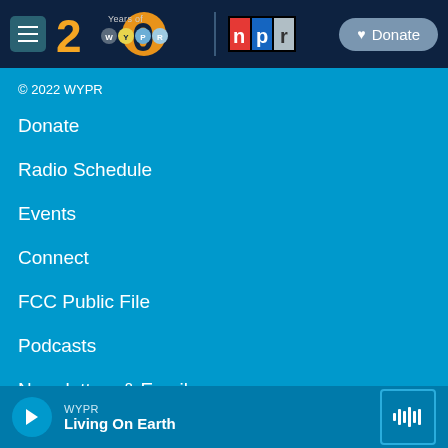WYPR 20 Years of WYPR | NPR | Donate
© 2022 WYPR
Donate
Radio Schedule
Events
Connect
FCC Public File
Podcasts
Newsletters & Emails
WYPR — Living On Earth